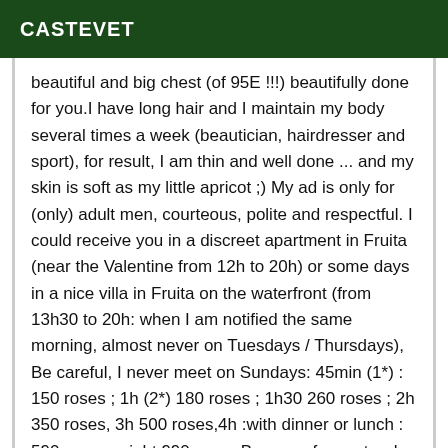CASTEVET
beautiful and big chest (of 95E !!!) beautifully done for you.I have long hair and I maintain my body several times a week (beautician, hairdresser and sport), for result, I am thin and well done ... and my skin is soft as my little apricot ;) My ad is only for (only) adult men, courteous, polite and respectful. I could receive you in a discreet apartment in Fruita (near the Valentine from 12h to 20h) or some days in a nice villa in Fruita on the waterfront (from 13h30 to 20h: when I am notified the same morning, almost never on Tuesdays / Thursdays), Be careful, I never meet on Sundays: 45min (1*) : 150 roses ; 1h (2*) 180 roses ; 1h30 260 roses ; 2h 350 roses, 3h 500 roses,4h :with dinner or lunch : 590 roses ; night 990 roses Beware of escorts who practice very low bouquets or who wish to be paid in PCF recharge coupon: THIS ARE ARNAQUES Possible scenarios and dress code Queen of Naturist and Tantric massage, I